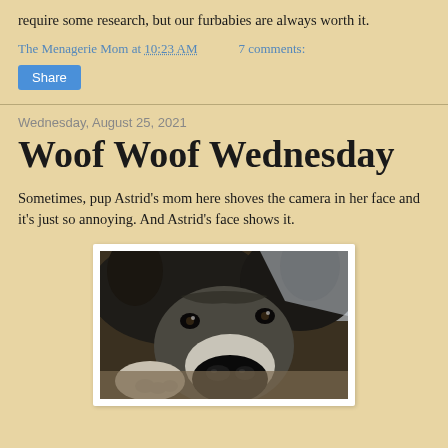require some research, but our furbabies are always worth it.
The Menagerie Mom at 10:23 AM    7 comments:
Share
Wednesday, August 25, 2021
Woof Woof Wednesday
Sometimes, pup Astrid's mom here shoves the camera in her face and it's just so annoying. And Astrid's face shows it.
[Figure (photo): Close-up photo of a black and grey dog (Astrid) with a large nose in the foreground, looking slightly annoyed at the camera, resting on what appears to be a bed or couch.]